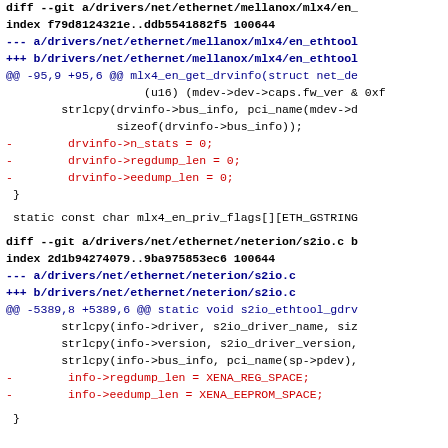diff --git a/drivers/net/ethernet/mellanox/mlx4/en_ethtool.c b/...
index f79d8124321e..ddb5541882f5 100644
--- a/drivers/net/ethernet/mellanox/mlx4/en_ethtool.c
+++ b/drivers/net/ethernet/mellanox/mlx4/en_ethtool.c
@@ -95,9 +95,6 @@ mlx4_en_get_drvinfo(struct net_de...
(u16) (mdev->dev->caps.fw_ver & 0xf...
strlcpy(drvinfo->bus_info, pci_name(mdev->d...
sizeof(drvinfo->bus_info));
-        drvinfo->n_stats = 0;
-        drvinfo->regdump_len = 0;
-        drvinfo->eedump_len = 0;
}
static const char mlx4_en_priv_flags[][ETH_GSTRING...
diff --git a/drivers/net/ethernet/neterion/s2io.c b/...
index 2d1b94274079..9ba975853ec6 100644
--- a/drivers/net/ethernet/neterion/s2io.c
+++ b/drivers/net/ethernet/neterion/s2io.c
@@ -5389,8 +5389,6 @@ static void s2io_ethtool_gdrv...
strlcpy(info->driver, s2io_driver_name, siz...
strlcpy(info->version, s2io_driver_version,...
strlcpy(info->bus_info, pci_name(sp->pdev),...
-        info->regdump_len = XENA_REG_SPACE;
-        info->eedump_len = XENA_EEPROM_SPACE;
}